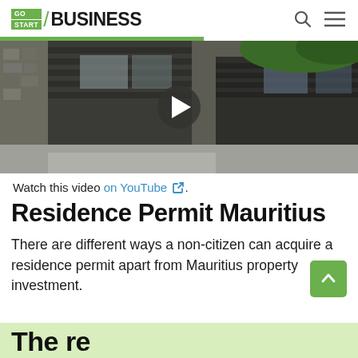GO START / BUSINESS
[Figure (screenshot): Video thumbnail showing open dark metal gate with driveway, with a play button overlay indicating an embedded YouTube video]
Watch this video on YouTube.
Residence Permit Mauritius
There are different ways a non-citizen can acquire a residence permit apart from Mauritius property investment.
The re...